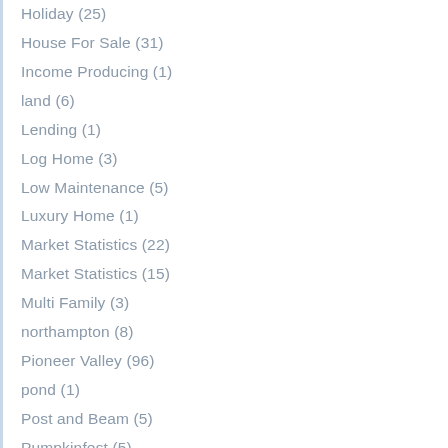Holiday (25)
House For Sale (31)
Income Producing (1)
land (6)
Lending (1)
Log Home (3)
Low Maintenance (5)
Luxury Home (1)
Market Statistics (22)
Market Statistics (15)
Multi Family (3)
northampton (8)
Pioneer Valley (96)
pond (1)
Post and Beam (5)
Pumpkinfest (5)
Real Estate News (35)